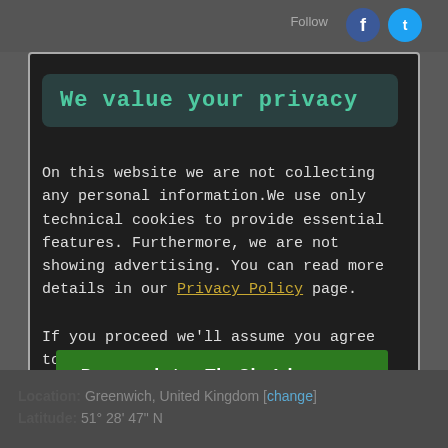Follow
We value your privacy
On this website we are not collecting any personal information.We use only technical cookies to provide essential features. Furthermore, we are not showing advertising. You can read more details in our Privacy Policy page.
If you proceed we'll assume you agree to receive our cookies. Thank you.
Proceed to TheSkyLive.com
Location: Greenwich, United Kingdom [change]
Latitude: 51° 28' 47" N